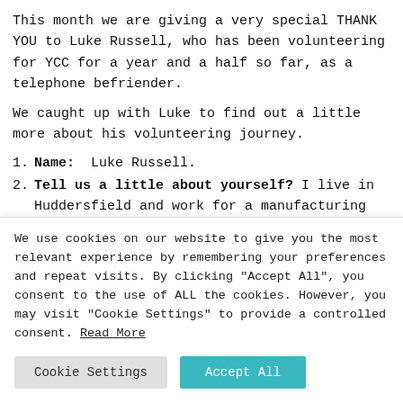This month we are giving a very special THANK YOU to Luke Russell, who has been volunteering for YCC for a year and a half so far, as a telephone befriender.
We caught up with Luke to find out a little more about his volunteering journey.
Name:  Luke Russell.
Tell us a little about yourself? I live in Huddersfield and work for a manufacturing company in nearby Meltham. I spend most of my time on my main interests which are
We use cookies on our website to give you the most relevant experience by remembering your preferences and repeat visits. By clicking "Accept All", you consent to the use of ALL the cookies. However, you may visit "Cookie Settings" to provide a controlled consent. Read More